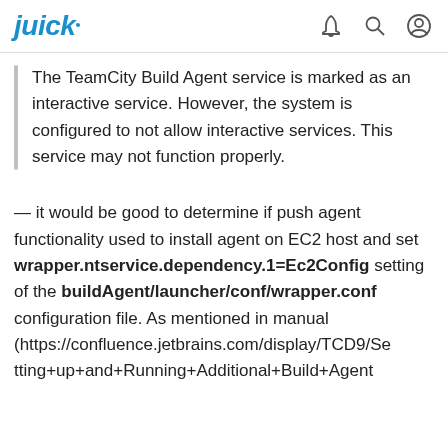juick
The TeamCity Build Agent service is marked as an interactive service. However, the system is configured to not allow interactive services. This service may not function properly.
— it would be good to determine if push agent functionality used to install agent on EC2 host and set wrapper.ntservice.dependency.1=Ec2Config setting of the buildAgent/launcher/conf/wrapper.conf configuration file. As mentioned in manual (https://confluence.jetbrains.com/display/TCD9/Setting+up+and+Running+Additional+Build+Agent